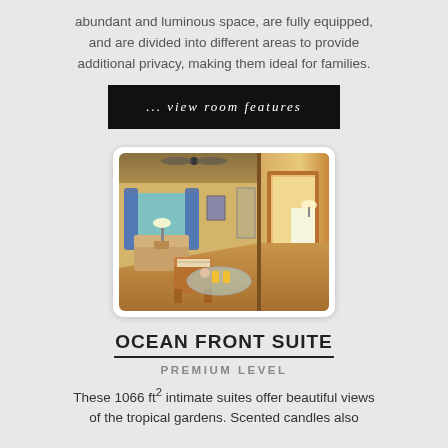abundant and luminous space, are fully equipped, and are divided into different areas to provide additional privacy, making them ideal for families.
... view room features
[Figure (photo): Interior photo of a hotel suite showing a living area with wicker chairs, a glass coffee table with drinks, blue curtains, and a view into a bedroom through an open door.]
OCEAN FRONT SUITE
PREMIUM LEVEL
These 1066 ft² intimate suites offer beautiful views of the tropical gardens. Scented candles also